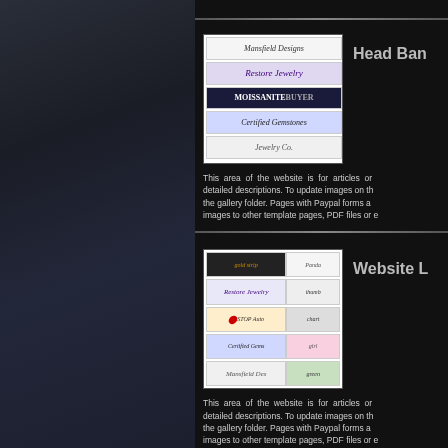[Figure (screenshot): Left dark brushed metal panel background]
[Figure (screenshot): Head Banner section with collection of jewelry website thumbnails]
Head Ban
This area of the website is for articles or detailed descriptions. To update images on the gallery folder. Pages with Paypal forms a images to other template pages, PDF files or e
[Figure (screenshot): Website Layout section with grid of multiple website thumbnails]
Website L
This area of the website is for articles or detailed descriptions. To update images on the gallery folder. Pages with Paypal forms a images to other template pages, PDF files or e
[Figure (screenshot): Bottom thumbnail showing hotel/building icon with stars]